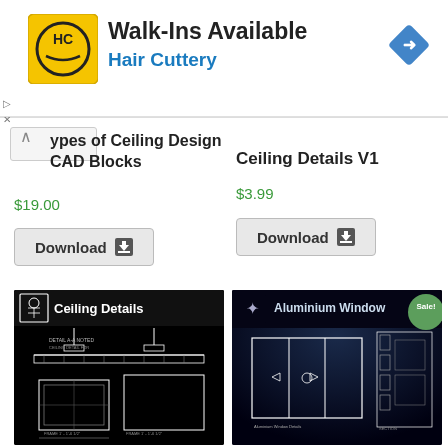[Figure (screenshot): Advertisement banner for Hair Cuttery salon: yellow logo with HC text, Walk-Ins Available headline, Hair Cuttery subheading in blue, navigation arrow icon on right]
Types of Ceiling Design CAD Blocks
$19.00
Download
Ceiling Details V1
$3.99
Download
[Figure (engineering-diagram): CAD block thumbnail showing Ceiling Details: white technical drawings of ceiling cross-sections on black background]
[Figure (engineering-diagram): CAD block thumbnail showing Aluminium Window with Sale! badge: white technical drawings of window profiles on dark blue/black background]